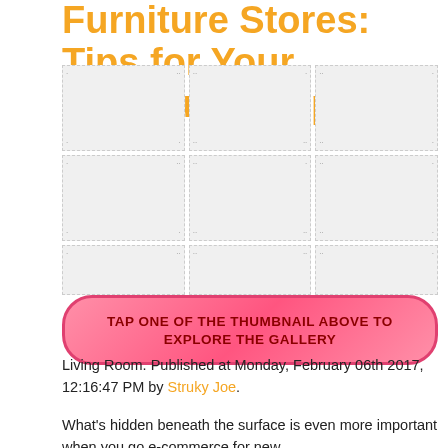Furniture Stores: Tips for Your Furniture Shopping
[Figure (other): Two rows of thumbnail image placeholders arranged in a grid layout for a photo gallery]
TAP ONE OF THE THUMBNAIL ABOVE TO EXPLORE THE GALLERY
Living Room. Published at Monday, February 06th 2017, 12:16:47 PM by Struky Joe.
What's hidden beneath the surface is even more important when you go e-commerce for new